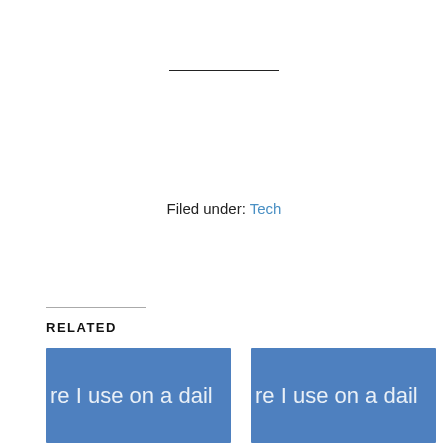Filed under: Tech
RELATED
[Figure (illustration): Blue card thumbnail with text 're I use on a dail']
My Software Toolbox – 2018 Edition
[Figure (illustration): Blue card thumbnail with text 're I use on a dail']
My Software Toolbox – 2019 Edition
[Figure (illustration): Blue card thumbnail with text 're I use on a dail' (partially visible)]